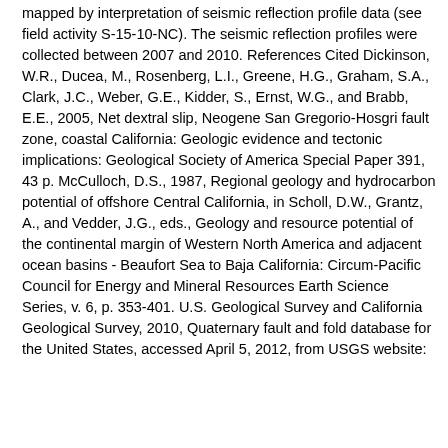coastal zone (Weber and others, 1995). Folds were primarily mapped by interpretation of seismic reflection profile data (see field activity S-15-10-NC). The seismic reflection profiles were collected between 2007 and 2010. References Cited Dickinson, W.R., Ducea, M., Rosenberg, L.I., Greene, H.G., Graham, S.A., Clark, J.C., Weber, G.E., Kidder, S., Ernst, W.G., and Brabb, E.E., 2005, Net dextral slip, Neogene San Gregorio-Hosgri fault zone, coastal California: Geologic evidence and tectonic implications: Geological Society of America Special Paper 391, 43 p. McCulloch, D.S., 1987, Regional geology and hydrocarbon potential of offshore Central California, in Scholl, D.W., Grantz, A., and Vedder, J.G., eds., Geology and resource potential of the continental margin of Western North America and adjacent ocean basins - Beaufort Sea to Baja California: Circum-Pacific Council for Energy and Mineral Resources Earth Science Series, v. 6, p. 353-401. U.S. Geological Survey and California Geological Survey, 2010, Quaternary fault and fold database for the United States, accessed April 5, 2012, from USGS website: